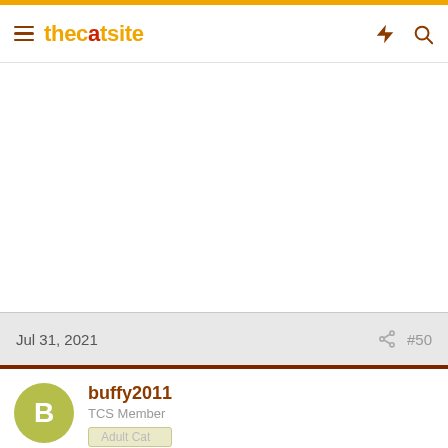thecatsite
Jul 31, 2021  #50
buffy2011
TCS Member
Adult Cat